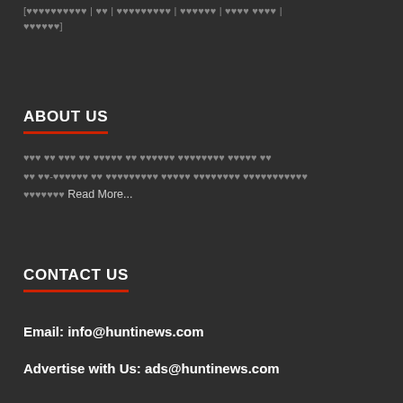[garbled navigation links] | [garbled]
ABOUT US
[garbled text] Read More...
CONTACT US
Email: info@huntinews.com
Advertise with Us: ads@huntinews.com